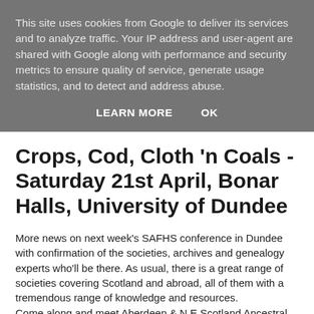This site uses cookies from Google to deliver its services and to analyze traffic. Your IP address and user-agent are shared with Google along with performance and security metrics to ensure quality of service, generate usage statistics, and to detect and address abuse.
LEARN MORE   OK
Crops, Cod, Cloth 'n Coals - Saturday 21st April, Bonar Halls, University of Dundee
More news on next week's SAFHS conference in Dundee with confirmation of the societies, archives and genealogy experts who'll be there. As usual, there is a great range of societies covering Scotland and abroad, all of them with a tremendous range of knowledge and resources. Come along and meet Aberdeen & N E Scotland Ancestral Tourism Partnership, Aberdeen & N E Scotland FHS, Anglo Scottish FHS, ASGRA, Borders FHS, Central Scotland FHS, Clan Moffat UK, Deceased Online, Dumfries and Galloway